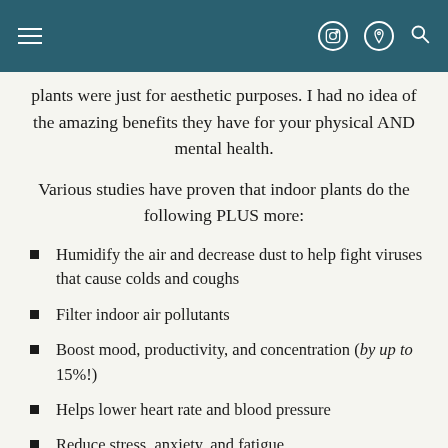☰  [Instagram] [Pinterest] [Search]
plants were just for aesthetic purposes. I had no idea of the amazing benefits they have for your physical AND mental health.
Various studies have proven that indoor plants do the following PLUS more:
Humidify the air and decrease dust to help fight viruses that cause colds and coughs
Filter indoor air pollutants
Boost mood, productivity, and concentration (by up to 15%!)
Helps lower heart rate and blood pressure
Reduce stress, anxiety, and fatigue
Improves sleep